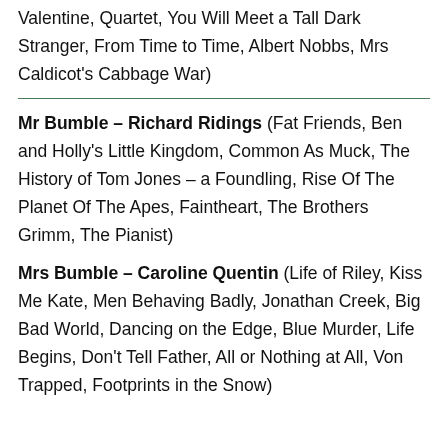Valentine, Quartet, You Will Meet a Tall Dark Stranger, From Time to Time, Albert Nobbs, Mrs Caldicot's Cabbage War)
Mr Bumble – Richard Ridings (Fat Friends, Ben and Holly's Little Kingdom, Common As Muck, The History of Tom Jones – a Foundling, Rise Of The Planet Of The Apes, Faintheart, The Brothers Grimm, The Pianist)
Mrs Bumble – Caroline Quentin (Life of Riley, Kiss Me Kate, Men Behaving Badly, Jonathan Creek, Big Bad World, Dancing on the Edge, Blue Murder, Life Begins, Don't Tell Father, All or Nothing at All, Von Trapped, Footprints in the Snow)